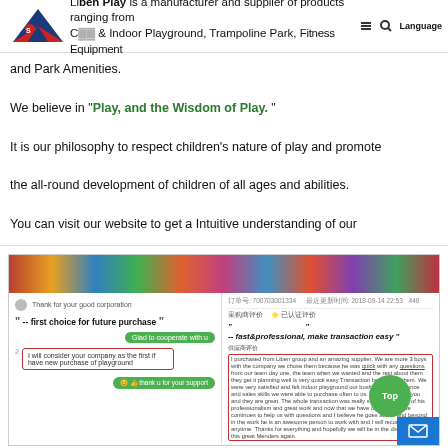Liben Play is a manufacturer and supplier of products ranging from Carnival & Indoor Playground, Trampoline Park, Fitness Equipment and Park Amenities.
We believe in "Play, and the Wisdom of Play."
It is our philosophy to respect children's nature of play and promote the all-round development of children of all ages and abilities.
You can visit our website to get a Intuitive understanding of our products.
libenplay.en.made-in-china.com
[Figure (screenshot): Screenshot of Liben Play website showing a colorful banner with playground images, and customer review/chat sections with quotes: '-- first choice for future purchase', '-- fast&professional, make transaction easy', '-- very satisfied, will make more orders'. Includes a green Top button and blue mail button.]